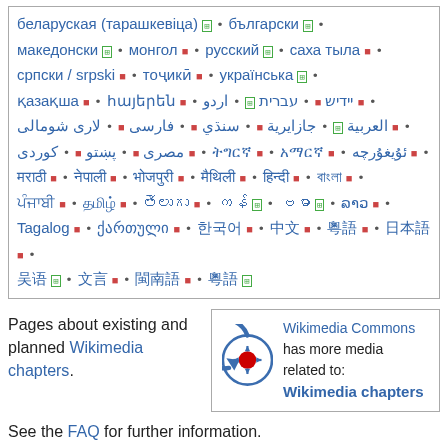беларуская (тарашкевіца) • български • македонски • монгол • русский • саха тыла • српски / srpski • тоҷикӣ • українська • қазақша • հայերեն • יידיש • עברית • اردو • العربية • جازايرية • سنڌي • فارسی • لاری شومالی • مصرى • پښتو • کوردی • [various scripts] • ქართული • [various scripts]
[Figure (logo): Wikimedia Commons logo - blue circular arrow with red center dot]
Pages about existing and planned Wikimedia chapters.
Wikimedia Commons has more media related to: Wikimedia chapters
See the FAQ for further information.
See also Category:Wikimedia Chapters on the Strategy